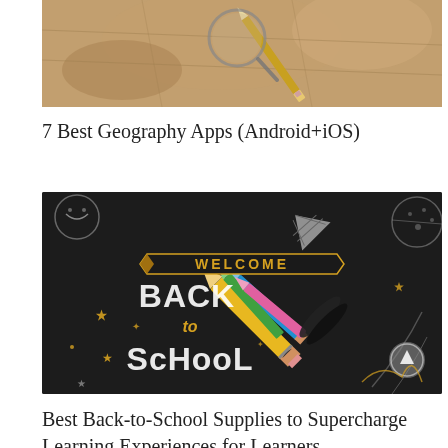[Figure (photo): Partial top image showing a map with a magnifying glass and pencil on a brown/tan surface, cropped at top]
7 Best Geography Apps (Android+iOS)
[Figure (photo): Black chalkboard-style back-to-school promotional image with text 'WELCOME BACK to SCHOOL' in decorative lettering and a rocket made of colorful pencils flying diagonally, with stars and space doodles around it]
Best Back-to-School Supplies to Supercharge Learning Experiences for Learners